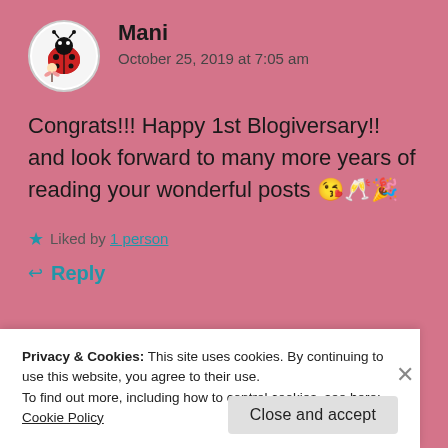Mani
October 25, 2019 at 7:05 am
Congrats!!! Happy 1st Blogiversary!! and look forward to many more years of reading your wonderful posts 😘🥂🎉
★ Liked by 1 person
↩ Reply
Privacy & Cookies: This site uses cookies. By continuing to use this website, you agree to their use.
To find out more, including how to control cookies, see here: Cookie Policy
Close and accept